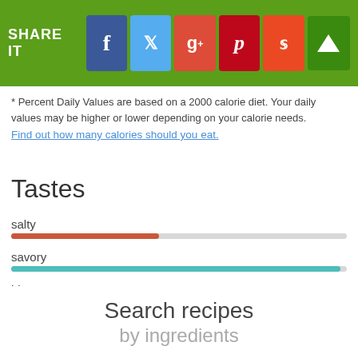SHARE IT [social media buttons: Facebook, Twitter, Google+, Pinterest, StumbleUpon] [scroll up button]
* Percent Daily Values are based on a 2000 calorie diet. Your daily values may be higher or lower depending on your calorie needs.
Find out how many calories should you eat.
Tastes
[Figure (bar-chart): Tastes]
Search recipes
by ingredients